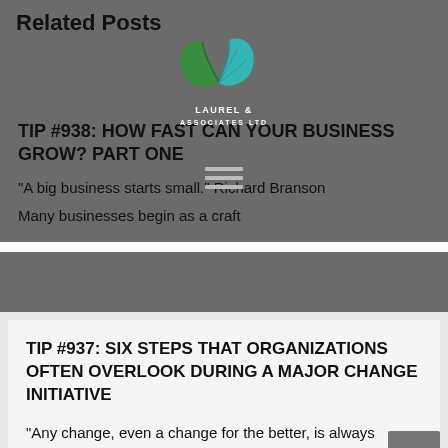Related Posts
[Figure (logo): Laurel & Associates Ltd logo with two green leaves (dark green and teal) above the company name in white text]
TIP #938: HOW FAST CAN YOUR BUSINESS GROW? PART ONE
“A big business starts small.” Richard Branson
Many businesses begin as a craft
TIP #937:  SIX STEPS THAT ORGANIZATIONS OFTEN OVERLOOK DURING A MAJOR CHANGE INITIATIVE
“Any change, even a change for the better, is always accompanied by drawbacks